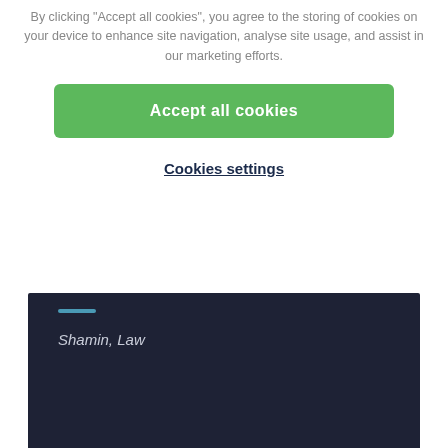By clicking "Accept all cookies", you agree to the storing of cookies on your device to enhance site navigation, analyse site usage, and assist in our marketing efforts.
Accept all cookies
Cookies settings
[Figure (screenshot): Dark navy panel with a teal horizontal bar accent and italic text reading 'Shamin, Law']